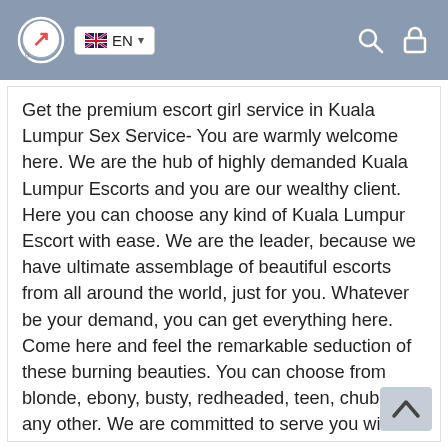EN (navigation bar with logo, language selector, search and lock icons)
Get the premium escort girl service in Kuala Lumpur Sex Service- You are warmly welcome here. We are the hub of highly demanded Kuala Lumpur Escorts and you are our wealthy client. Here you can choose any kind of Kuala Lumpur Escort with ease. We are the leader, because we have ultimate assemblage of beautiful escorts from all around the world, just for you. Whatever be your demand, you can get everything here. Come here and feel the remarkable seduction of these burning beauties. You can choose from blonde, ebony, busty, redheaded, teen, chubby or any other. We are committed to serve you with the best always. If you are searching for sizzling Russian escort girl or scintillating European escort girl, then you can find both of them here for sure. We have some exclusive VIP escorts for our reputed clients. These exclusive escorts are born performer, and you can enjoy every single moment